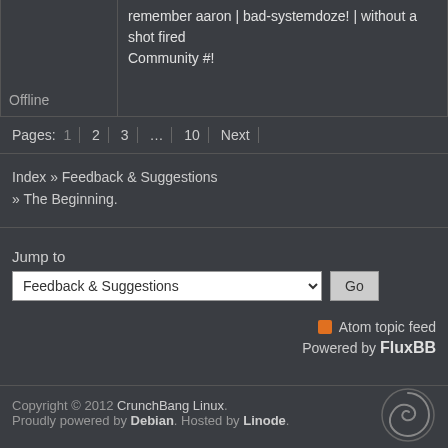remember aaron | bad-systemdoze! | without a shot fired
Community #!
Offline
Pages: 1 2 3 ... 10 Next
Index » Feedback & Suggestions
» The Beginning.
Jump to
Feedback & Suggestions
Go
Atom topic feed
Powered by FluxBB
Copyright © 2012 CrunchBang Linux.
Proudly powered by Debian. Hosted by Linode.